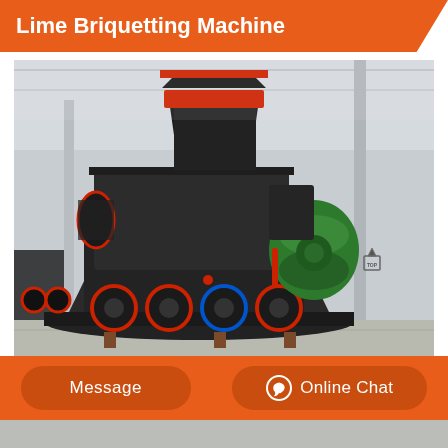Lime Briquetting Machine
[Figure (photo): Large industrial lime briquetting machine in a factory/warehouse setting. The machine is predominantly black with red accents, featuring a hopper on top, cylindrical body with multiple mechanisms around the base, and a green motor/drive component on the right side. The machine sits on supports in an industrial building with steel structure visible in background.]
Message | Online Chat